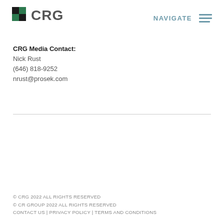CRG | NAVIGATE
CRG Media Contact:
Nick Rust
(646) 818-9252
nrust@prosek.com
© CRG 2022 ALL RIGHTS RESERVED
© CR GROUP 2022 ALL RIGHTS RESERVED
CONTACT US | PRIVACY POLICY | TERMS AND CONDITIONS